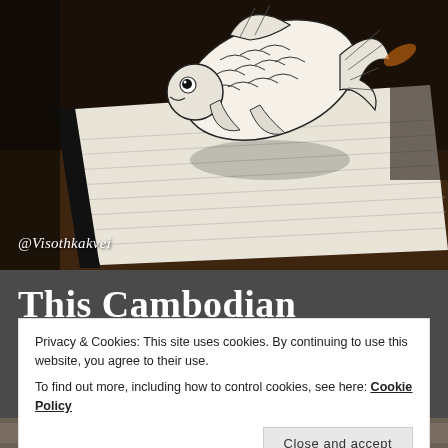[Figure (photo): A 3D pop-up doodle of a koi fish drawn in a notebook, appearing to leap off the page. The artwork is detailed with intricate pen and ink line work. The notebook sits on a wooden table in a dark, moody setting.]
@Visothkakvei
This Cambodian Artist Is Taking Doodling To
Privacy & Cookies: This site uses cookies. By continuing to use this website, you agree to their use.
To find out more, including how to control cookies, see here: Cookie Policy
Close and accept
[Figure (photo): Partial view of another doodle artwork at the bottom of the page, with @Visothkakvei watermark visible.]